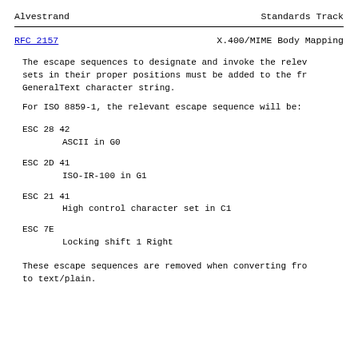Alvestrand                      Standards Track
RFC 2157                    X.400/MIME Body Mapping
The escape sequences to designate and invoke the relevant sets in their proper positions must be added to the front GeneralText character string.
For ISO 8859-1, the relevant escape sequence will be:
ESC 28 42
        ASCII in G0
ESC 2D 41
        ISO-IR-100 in G1
ESC 21 41
        High control character set in C1
ESC 7E
        Locking shift 1 Right
These escape sequences are removed when converting from to text/plain.